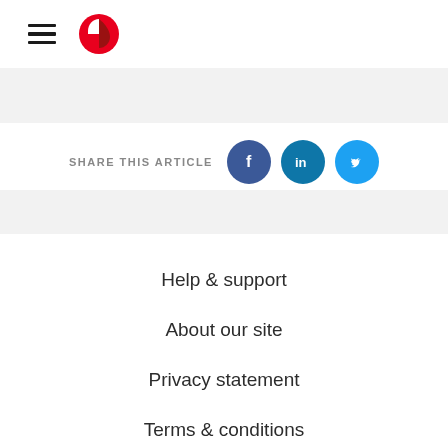Australia Post logo and navigation menu
SHARE THIS ARTICLE
Help & support
About our site
Privacy statement
Terms & conditions